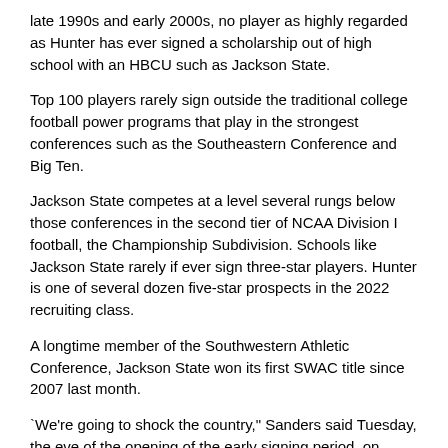late 1990s and early 2000s, no player as highly regarded as Hunter has ever signed a scholarship out of high school with an HBCU such as Jackson State.
Top 100 players rarely sign outside the traditional college football power programs that play in the strongest conferences such as the Southeastern Conference and Big Ten.
Jackson State competes at a level several rungs below those conferences in the second tier of NCAA Division I football, the Championship Subdivision. Schools like Jackson State rarely if ever sign three-star players. Hunter is one of several dozen five-star prospects in the 2022 recruiting class.
A longtime member of the Southwestern Athletic Conference, Jackson State won its first SWAC title since 2007 last month.
`We're going to shock the country," Sanders said Tuesday, the eve of the opening of the early signing period, on Barstool Sports' "Unnecessary Roughness" podcast. Sanders has his own podcast on Barstool, "21st and Prime," and is a regular contributor to the company's most popular show, "Pardon My Take."
Hunter had been expected to sign with Florida State as college football's early signing period opened on Wednesday. He had given a non-binding verbal commitment to FSU in March and was considered the centerpiece of what the Seminoles hoped to be a recruiting class that would turn around the fortunes of a struggling superpower.